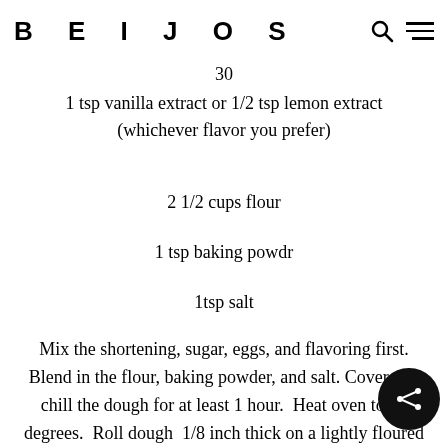BEIJOS
30
1 tsp vanilla extract or 1/2 tsp lemon extract (whichever flavor you prefer)
2 1/2 cups flour
1 tsp baking powdr
1tsp salt
Mix the shortening, sugar, eggs, and flavoring first. Blend in the flour, baking powder, and salt. Cover and chill the dough for at least 1 hour.  Heat oven to 400 degrees.  Roll dough  1/8 inch thick on a lightly floured surface.  Cut dough into desired shapes.  Place on